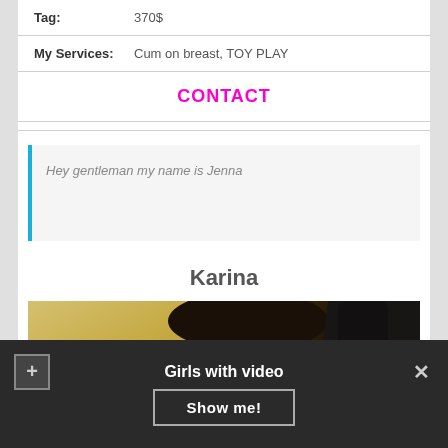Tag: 370$
My Services: Cum on breast, TOY PLAY
CONTACT
Hey gentleman my name is Jenna
Karina
[Figure (photo): Photo of a blonde woman with dark roots, wearing a black leather jacket, arm raised.]
Girls with video
Show me!